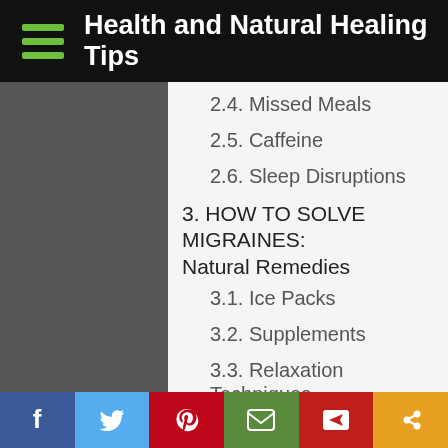Health and Natural Healing Tips
2.4. Missed Meals
2.5. Caffeine
2.6. Sleep Disruptions
3. HOW TO SOLVE MIGRAINES: Natural Remedies
3.1. Ice Packs
3.2. Supplements
3.3. Relaxation Techniques
3.4. Herbs
3.5. Acupuncture
4. HOW TO SOLVE MIGRAINES: Medical Treatments
4.1. Triptans
4.2. Beta-blockers/Anti-hypertensives
4.3. Antiseizure Medication (truncated)